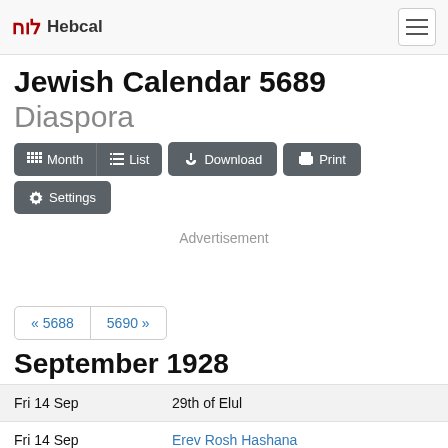לוח Hebcal
Jewish Calendar 5689 Diaspora
Month  List  Download  Print  Settings
Advertisement
« 5688  5690 »
September 1928
| Date | Event |
| --- | --- |
| Fri 14 Sep | 29th of Elul |
| Fri 14 Sep | Erev Rosh Hashana |